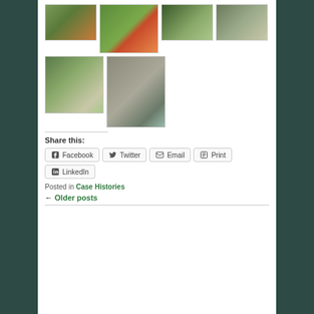[Figure (photo): Grid of 6 outdoor/construction photos showing excavation work near a waterway, machinery, and culvert/drainage structures.]
Share this:
Facebook  Twitter  Email  Print  LinkedIn
Posted in Case Histories
← Older posts